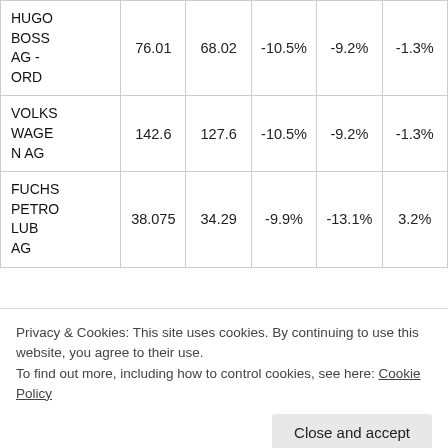| Name | Col1 | Col2 | Col3 | Col4 | Col5 |
| --- | --- | --- | --- | --- | --- |
| HUGO BOSS AG - ORD | 76.01 | 68.02 | -10.5% | -9.2% | -1.3% |
| VOLKSWAGEN AG | 142.6 | 127.6 | -10.5% | -9.2% | -1.3% |
| FUCHS PETROLUB AG | 38.075 | 34.29 | -9.9% | -13.1% | 3.2% |
| ERWER | 70.66 | 53.58 | -24.2% | -21.2% | -2.9% |
Privacy & Cookies: This site uses cookies. By continuing to use this website, you agree to their use.
To find out more, including how to control cookies, see here: Cookie Policy